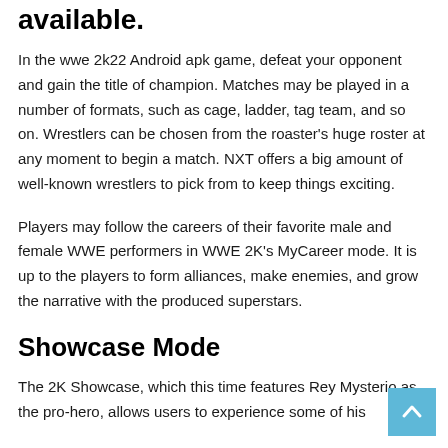available.
In the wwe 2k22 Android apk game, defeat your opponent and gain the title of champion. Matches may be played in a number of formats, such as cage, ladder, tag team, and so on. Wrestlers can be chosen from the roaster's huge roster at any moment to begin a match. NXT offers a big amount of well-known wrestlers to pick from to keep things exciting.
Players may follow the careers of their favorite male and female WWE performers in WWE 2K's MyCareer mode. It is up to the players to form alliances, make enemies, and grow the narrative with the produced superstars.
Showcase Mode
The 2K Showcase, which this time features Rey Mysterio as the pro-hero, allows users to experience some of his...